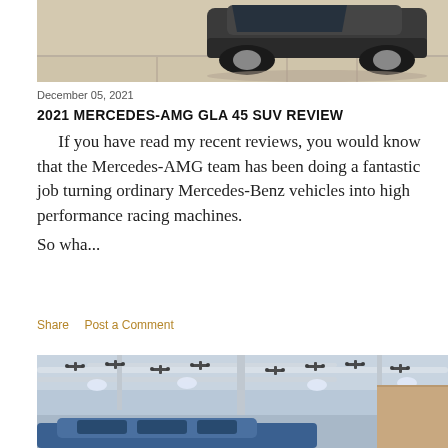[Figure (photo): Top portion of a car photo — Mercedes-AMG GLA 45 SUV on a parking lot surface, cropped showing the top of the vehicle]
December 05, 2021
2021 MERCEDES-AMG GLA 45 SUV REVIEW
If you have read my recent reviews, you would know that the Mercedes-AMG team has been doing a fantastic job turning ordinary Mercedes-Benz vehicles into high performance racing machines.
So wha...
Share   Post a Comment
[Figure (photo): Parking garage interior with drones mounted on ceiling pipes and a blue car partially visible at the bottom]